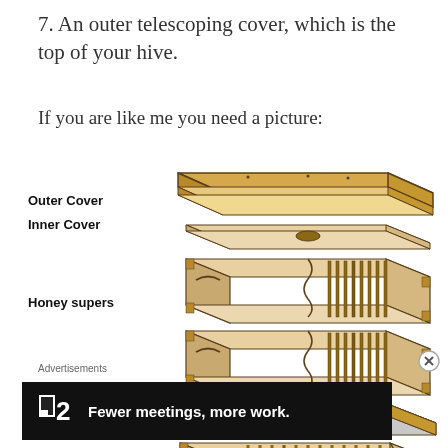7. An outer telescoping cover, which is the top of your hive.
If you are like me you need a picture:
[Figure (illustration): Exploded diagram of a beehive showing layers from top to bottom: Outer Cover, Inner Cover, two Honey supers (boxes with frames), Queen Excluder, and a lower brood box with frames. Each component is drawn in an isometric exploded view showing wooden construction and internal frames.]
Advertisements
⊟2   Fewer meetings, more work.